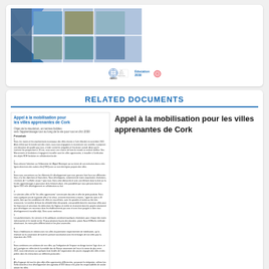[Figure (photo): Collage of city photos arranged in a diamond/triangle pattern showing various UNESCO learning cities around the world]
[Figure (logo): UNESCO logo, UIL (UNESCO Institute for Lifelong Learning) logo, and Education 2030 logo]
RELATED DOCUMENTS
[Figure (screenshot): Thumbnail of document page titled 'Appel à la mobilisation pour les villes apprenantes de Cork' with French text body content]
Appel à la mobilisation pour les villes apprenantes de Cork